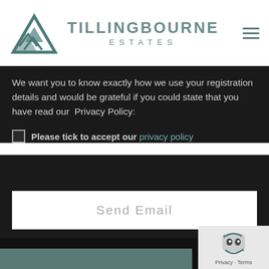[Figure (logo): Tillingbourne Estates logo with mountain/chevron graphic and text 'TILLINGBOURNE ESTATES']
We want you to know exactly how we use your registration details and would be grateful if you could state that you have read our Privacy Policy:
Please tick to accept our privacy policy
[Figure (other): Send Email button (white rectangle on dark background)]
[Figure (other): reCAPTCHA badge with Privacy and Terms links]